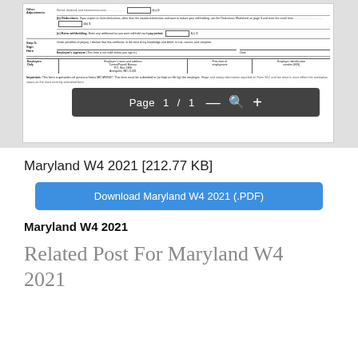[Figure (screenshot): Preview of Maryland W4 2021 federal tax form showing Step 4 Other Adjustments with deductions and extra withholding fields, Step 5 Sign Here section with employee signature and date lines, and Employers Only section. A PDF viewer toolbar overlay shows 'Page 1 / 1' with zoom controls.]
Maryland W4 2021 [212.77 KB]
Download Maryland W4 2021 (.PDF)
Maryland W4 2021
Related Post For Maryland W4 2021